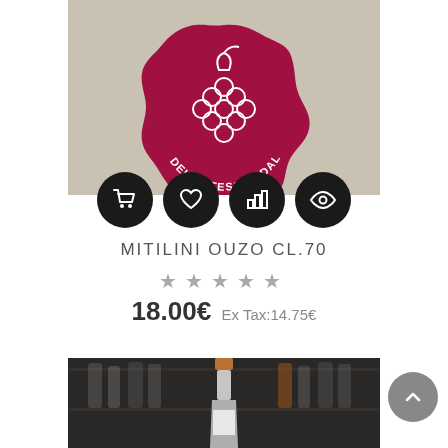[Figure (logo): Round wax-seal style logo in dark red/crimson on a beige/tan background. Features a bunch of grapes with leaves and the text 'DELICATESSEN DAL 1952' curved around the bottom.]
[Figure (infographic): Four black circular action buttons: shopping cart icon, heart/favorite icon, bar chart icon, eye/view icon]
MITILINI OUZO CL.70
[Figure (other): Five grey star rating icons]
18.00€ Ex Tax:14.75€
[Figure (photo): A bottle with a copper/rose gold foil top, standing in front of a blurred background of bottles on shelves in a dark store/cellar.]
[Figure (other): Grey circular back-to-top button with upward chevron arrow]